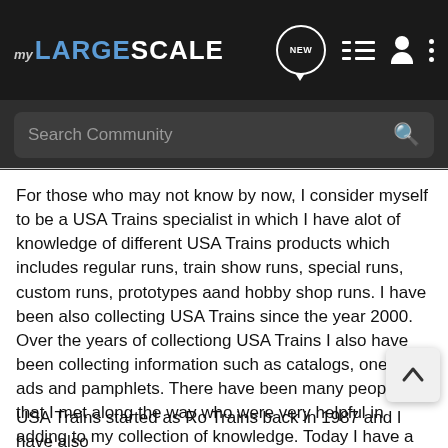my LARGE SCALE
Search Community
For those who may not know by now, I consider myself to be a USA Trains specialist in which I have alot of knowledge of different USA Trains products which includes regular runs, train show runs, special runs, custom runs, prototypes aand hobby shop runs. I have been also collecting USA Trains since the year 2000. Over the years of collectiong USA Trains I also have been collecting information such as catalogs, one page ads and pamphlets. There have been many people that I met along the way who were very helpful in adding to my collection of knowledge. Today I have a huge wealth of knowledge dedicated to USA Trains G scale trains to share with everyone who wants to research different trains that USA Trains made in the past.
USA Trains started as Ro Trains back in 1987 and I have also